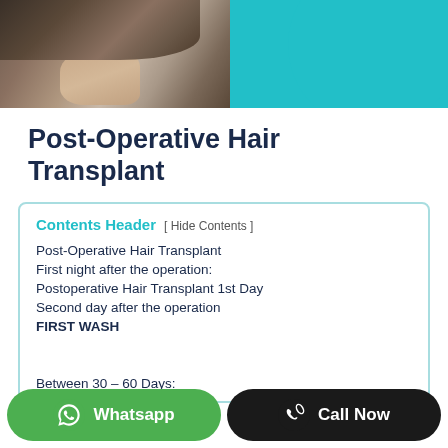[Figure (photo): Header image showing a man's head/hair from behind against a teal background with a circular overlay]
Post-Operative Hair Transplant
Contents Header  [ Hide Contents ]
Post-Operative Hair Transplant
First night after the operation:
Postoperative Hair Transplant 1st Day
Second day after the operation
FIRST WASH
Between 30 – 60 Days: